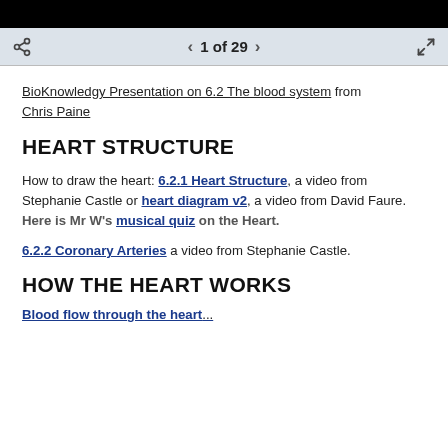1 of 29
BioKnowledgy Presentation on 6.2 The blood system from Chris Paine
HEART STRUCTURE
How to draw the heart: 6.2.1 Heart Structure, a video from Stephanie Castle or heart diagram v2, a video from David Faure. Here is Mr W's musical quiz on the Heart.
6.2.2 Coronary Arteries a video from Stephanie Castle.
HOW THE HEART WORKS
Blood flow through the heart...